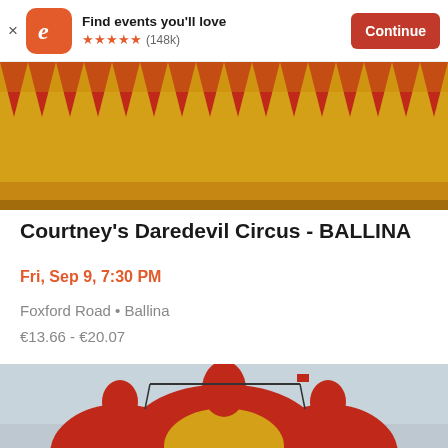Find events you'll love ★★★★★ (148k) Continue
[Figure (photo): Yellow and red circus tent bottom valance with triangular red points on yellow background]
Courtney's Daredevil Circus - BALLINA
Fri, Sep 9, 7:30 PM
Foxford Road • Ballina
€13.66 - €20.07
[Figure (photo): Red and yellow circus big top tent against cloudy sky, with support structures and truss visible at the top]